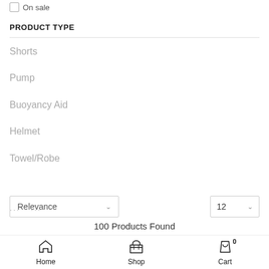On sale
PRODUCT TYPE
Shorts
Pump
Buoyancy Aid
Helmet
Towel/Robe
... ...
Relevance   ∨
12  ∨
100 Products Found
Home   Shop   Cart